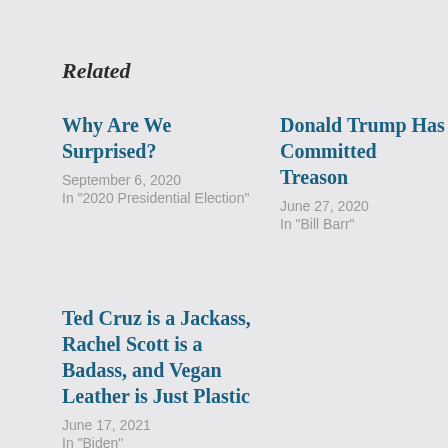Related
Why Are We Surprised?
September 6, 2020
In "2020 Presidential Election"
Donald Trump Has Committed Treason
June 27, 2020
In "Bill Barr"
Ted Cruz is a Jackass, Rachel Scott is a Badass, and Vegan Leather is Just Plastic
June 17, 2021
In "Biden"